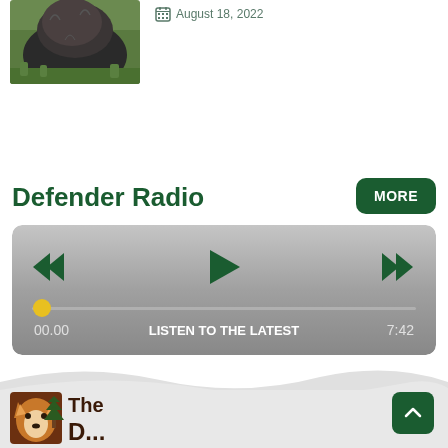[Figure (photo): Animal (dark-furred, possibly a bear or large cat) in green grass, partially visible at top left]
August 18, 2022
Defender Radio
[Figure (screenshot): Audio player widget with rewind, play, fast-forward controls, progress bar with yellow dot at start, time labels 00.00 and 7:42, center label LISTEN TO THE LATEST]
[Figure (logo): The Defender Radio logo at bottom left — brown fox/wolf face with pine tree, partial text visible]